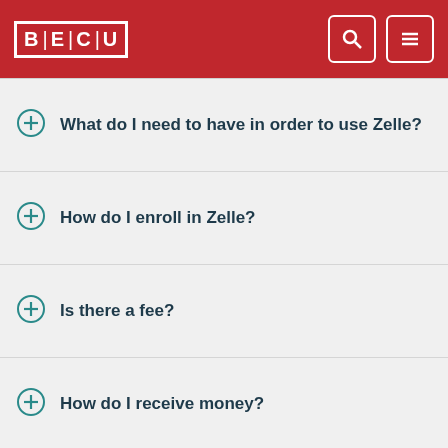BECU
What do I need to have in order to use Zelle?
How do I enroll in Zelle?
Is there a fee?
How do I receive money?
Does the person I'm sending money to need to enroll in Zelle?
General Information about Zelle®
Who can I send money to?